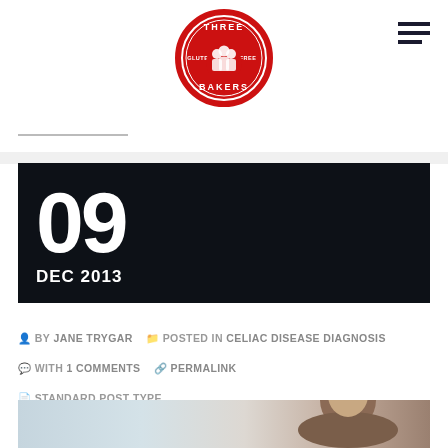[Figure (logo): Three Bakers Gluten Free circular logo in red and white]
Navigation hamburger menu icon
09
DEC 2013
■ BY JANE TRYGAR ■ POSTED IN CELIAC DISEASE DIAGNOSIS
■ WITH 1 COMMENTS ■ PERMALINK
■ STANDARD POST TYPE
[Figure (photo): Photo of a woman with brown hair pulled back, blurred background in light tones]